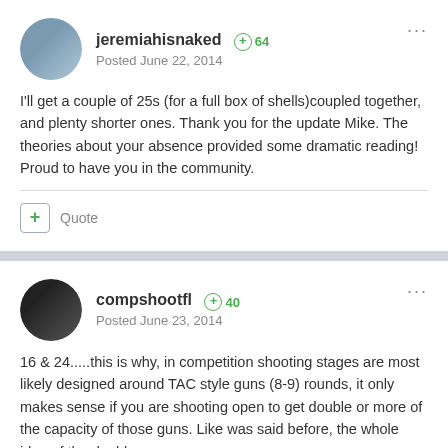jeremiahisnaked +64
Posted June 22, 2014
I'll get a couple of 25s (for a full box of shells)coupled together, and plenty shorter ones. Thank you for the update Mike. The theories about your absence provided some dramatic reading! Proud to have you in the community.
+ Quote
compshootfl +40
Posted June 23, 2014
16 & 24.....this is why, in competition shooting stages are most likely designed around TAC style guns (8-9) rounds, it only makes sense if you are shooting open to get double or more of the capacity of those guns. Like was said before, the whole idea of the doubl...